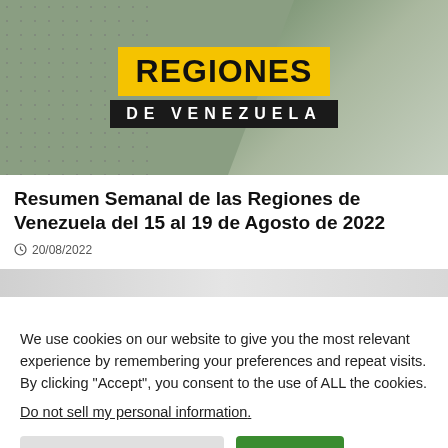[Figure (logo): Regiones de Venezuela logo with yellow background for REGIONES text and black background for DE VENEZUELA text, on a green dotted banner]
Resumen Semanal de las Regiones de Venezuela del 15 al 19 de Agosto de 2022
20/08/2022
[Figure (photo): Partial image strip appearing below the article date]
We use cookies on our website to give you the most relevant experience by remembering your preferences and repeat visits. By clicking “Accept”, you consent to the use of ALL the cookies.
Do not sell my personal information.
Configuración de Cookies
Aceptar